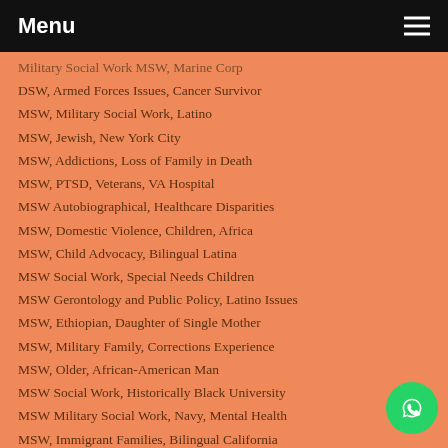Menu
Military Social Work MSW, Marine Corp
DSW, Armed Forces Issues, Cancer Survivor
MSW, Military Social Work, Latino
MSW, Jewish, New York City
MSW, Addictions, Loss of Family in Death
MSW, PTSD, Veterans, VA Hospital
MSW Autobiographical, Healthcare Disparities
MSW, Domestic Violence, Children, Africa
MSW, Child Advocacy, Bilingual Latina
MSW Social Work, Special Needs Children
MSW Gerontology and Public Policy, Latino Issues
MSW, Ethiopian, Daughter of Single Mother
MSW, Military Family, Corrections Experience
MSW, Older, African-American Man
MSW Social Work, Historically Black University
MSW Military Social Work, Navy, Mental Health
MSW, Immigrant Families, Bilingual California